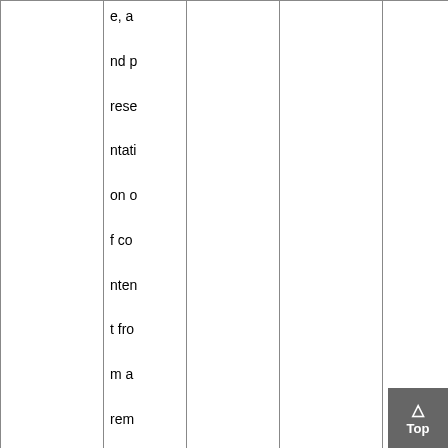|  |  |  |  |  |
| --- | --- | --- | --- | --- |
|  | e, a
nd p
rese
ntati
on o
f co
nten
t fro
m a
rem
ote
sour
ce |  |  |  |
| US6557054 | Met | REISM | 2000-04-20 | G06F 9/4 |